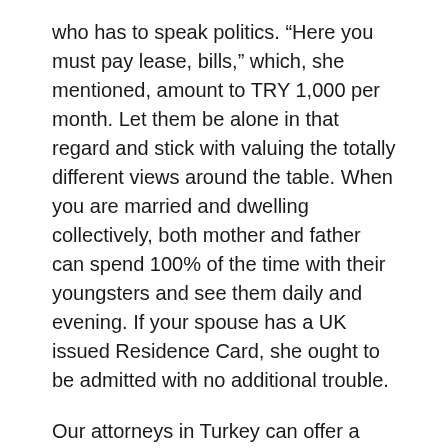who has to speak politics. “Here you must pay lease, bills,” which, she mentioned, amount to TRY 1,000 per month. Let them be alone in that regard and stick with valuing the totally different views around the table. When you are married and dwelling collectively, both mother and father can spend 100% of the time with their youngsters and see them daily and evening. If your spouse has a UK issued Residence Card, she ought to be admitted with no additional trouble.
Our attorneys in Turkey can offer a wide range of business consulting providers. So – should you plan to travel to a couple of international locations, I suggest you examine the foundations on each nation as with the power to enter Schengen easily does not guarantee you can get out simply. From advice on the greatest way to determine on the appropriate structure for your business to steering on the method to apply for the mandatory